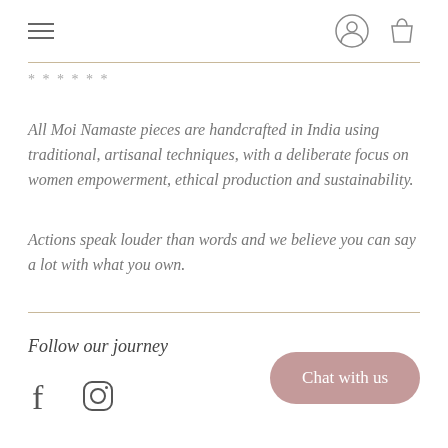Navigation bar with hamburger menu, user icon, and bag icon
* * * * * *
All Moi Namaste pieces are handcrafted in India using traditional, artisanal techniques, with a deliberate focus on women empowerment, ethical production and sustainability.
Actions speak louder than words and we believe you can say a lot with what you own.
Follow our journey
[Figure (other): Facebook and Instagram social media icons]
Chat with us